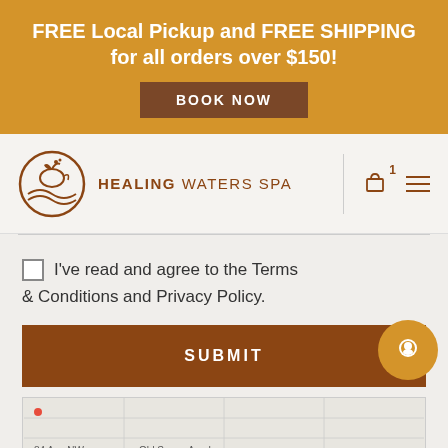FREE Local Pickup and FREE SHIPPING for all orders over $150!
BOOK NOW
[Figure (logo): Healing Waters Spa logo with circular emblem showing water and foliage design]
HEALING WATERS SPA
I've read and agree to the Terms & Conditions and Privacy Policy.
SUBMIT
[Figure (map): Map preview showing street grid with 84 Ave NW and Old Scona Acade visible]